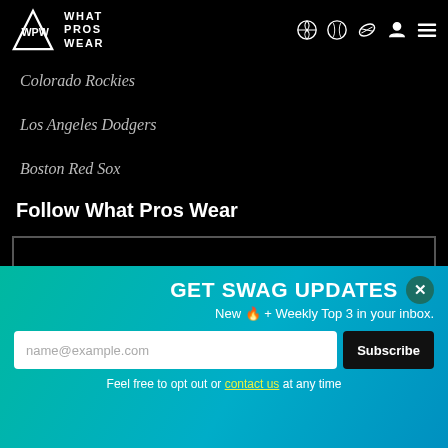What Pros Wear — navigation header with WPW logo and sport icons
Colorado Rockies
Los Angeles Dodgers
Boston Red Sox
Follow What Pros Wear
[Figure (infographic): Social media icons: Facebook, Instagram, Twitter/X, YouTube with BASEBALL label below]
Careers at WPW
[Figure (photo): Baseball player in NY Mets uniform making a peace sign with mitt]
GET SWAG UPDATES
New 🔥 + Weekly Top 3 in your inbox.
name@example.com
Subscribe
Feel free to opt out or contact us at any time